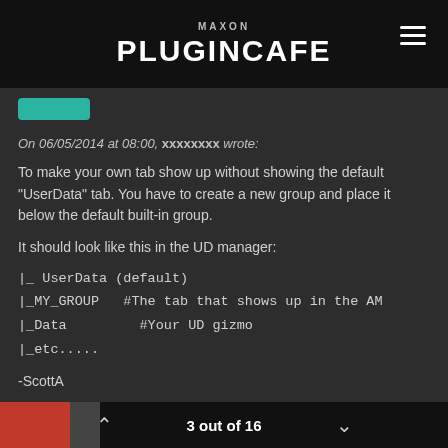MAXON PLUGINCAFE
On 06/05/2014 at 08:00, xxxxxxxx wrote:
To make your own tab show up without showing the default "UserData" tab. You have to create a new group and place it below the default built-in group.
It should look like this in the UD manager:
|_ UserData (default)
|_MY_GROUP   #The tab that shows up in the AM
|_Data         #Your UD gizmo
|_etc.....
-ScottA
3 out of 16